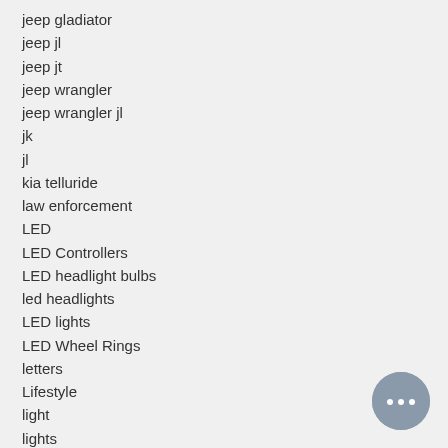jeep gladiator
jeep jl
jeep jt
jeep wrangler
jeep wrangler jl
jk
jl
kia telluride
law enforcement
LED
LED Controllers
LED headlight bulbs
led headlights
LED lights
LED Wheel Rings
letters
Lifestyle
light
lights
mask
mount
Mudding
new